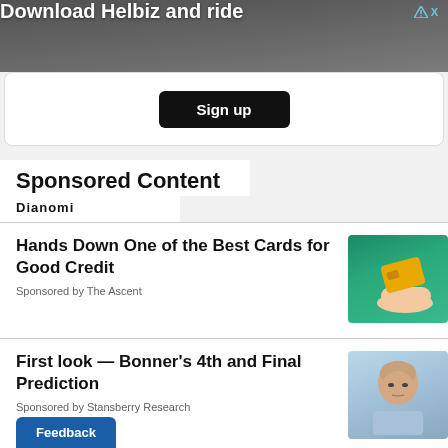[Figure (photo): Advertisement banner: Download Helbiz and ride, showing handlebar of electric scooter in background]
Sign up
Sponsored Content
Dianomi
Hands Down One of the Best Cards for Good Credit
Sponsored by The Ascent
[Figure (photo): Hand holding a yellow credit card against a teal/green background]
First look — Bonner's 4th and Final Prediction
Sponsored by Stansberry Research
[Figure (photo): Elderly bald man in light blue shirt looking serious]